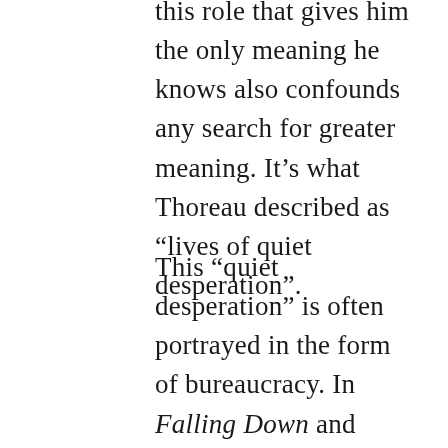this role that gives him the only meaning he knows also confounds any search for greater meaning. It’s what Thoreau described as “lives of quiet desperation”.
This “quiet desperation” is often portrayed in the form of bureaucracy. In Falling Down and American Beauty, the protagonists just lost their important positions in large bureaucratic companies. In District 9, Network, and A Scanner Darkly, the protagonists are caught up in the machinations of bureaucracies. This mind-numbing,